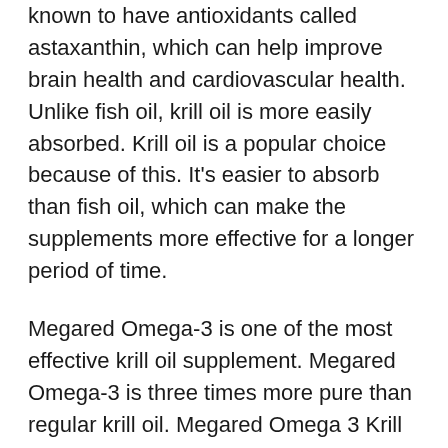known to have antioxidants called astaxanthin, which can help improve brain health and cardiovascular health. Unlike fish oil, krill oil is more easily absorbed. Krill oil is a popular choice because of this. It's easier to absorb than fish oil, which can make the supplements more effective for a longer period of time.
Megared Omega-3 is one of the most effective krill oil supplement. Megared Omega-3 is three times more pure than regular krill oil. Megared Omega 3 Krill Oil is packaged in the USA, so they are easier to locate than other supplements. Each capsule has approximately 166mg of EPA or DHA. EPA supplements are the most affordable source of omega-3 fatty acids, so it's worth comparing a few different products before making a final decision.